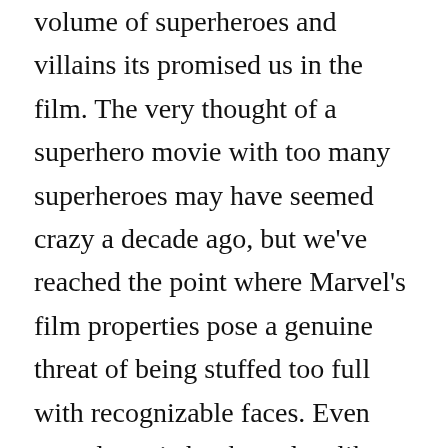volume of superheroes and villains its promised us in the film. The very thought of a superhero movie with too many superheroes may have seemed crazy a decade ago, but we've reached the point where Marvel's film properties pose a genuine threat of being stuffed too full with recognizable faces. Even casual comic book readers like myself know that the all-star team up issues - or the crossover events - were never quite as interesting as the storylines in the characters' individual runs.